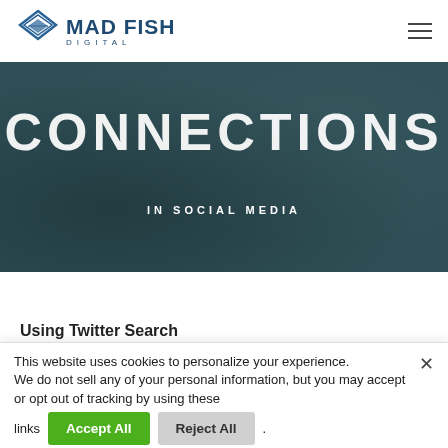Mad Fish Digital
[Figure (logo): Mad Fish Digital logo with diamond/chevron icon and company name]
CONNECTIONS
IN SOCIAL MEDIA
Using Twitter Search
This website uses cookies to personalize your experience.
We do not sell any of your personal information, but you may accept or opt out of tracking by using these links
Accept All  Reject All